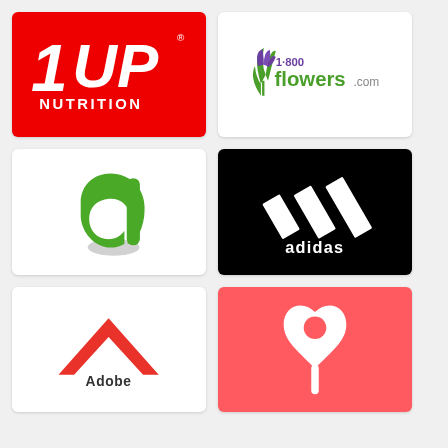[Figure (logo): 1UP Nutrition logo — red background with white bold text '1UP' and 'NUTRITION' below]
[Figure (logo): 1-800-Flowers.com logo — green tulip/flower icon, purple '1-800' text, green 'flowers.com' text]
[Figure (logo): Awin logo — large green stylized lowercase 'a' with shadow on white background]
[Figure (logo): Adidas logo — three white diagonal stripes and 'adidas' white lowercase text on black background]
[Figure (logo): Adobe logo — red 'A' chevron mark with 'Adobe' text on white background (partially visible)]
[Figure (logo): Airbnb logo — white Bélo symbol on salmon/coral pink background (partially visible)]